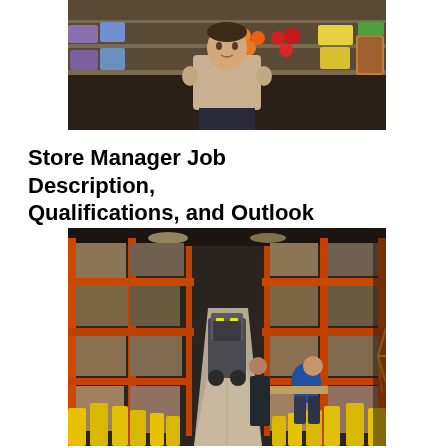[Figure (photo): A store manager standing with arms crossed in a grocery store produce section, with colorful fruits and vegetables on display behind him.]
Store Manager Job Description, Qualifications, and Outlook
[Figure (photo): A large warehouse aisle with tall orange metal shelving loaded with boxes and pallets. Yellow safety bumpers line the floor. A forklift is visible in the background and a worker in blue is bending over at the right side.]